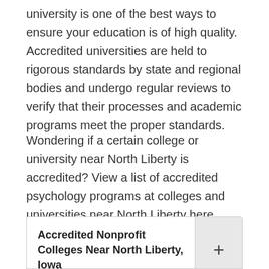university is one of the best ways to ensure your education is of high quality. Accredited universities are held to rigorous standards by state and regional bodies and undergo regular reviews to verify that their processes and academic programs meet the proper standards.
Wondering if a certain college or university near North Liberty is accredited? View a list of accredited psychology programs at colleges and universities near North Liberty here. We've made it easy to find your school by breaking down the list by school type.
Accredited Nonprofit Colleges Near North Liberty, Iowa